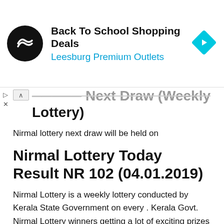[Figure (screenshot): Advertisement banner: circular black logo with double arrow icon, 'Back To School Shopping Deals' in bold, 'Leesburg Premium Outlets' in blue, and a cyan diamond navigation icon on the right]
...Next Draw (Weekly Lottery)
Nirmal lottery next draw will be held on
Nirmal Lottery Today Result NR 102 (04.01.2019)
Nirmal Lottery is a weekly lottery conducted by Kerala State Government on every . Kerala Govt. Nirmal Lottery winners getting a lot of exciting prizes are given as per Nirmal Lottery prize structure. Nirmal Lottery Result draw published on every draw day after 3:00 PM.